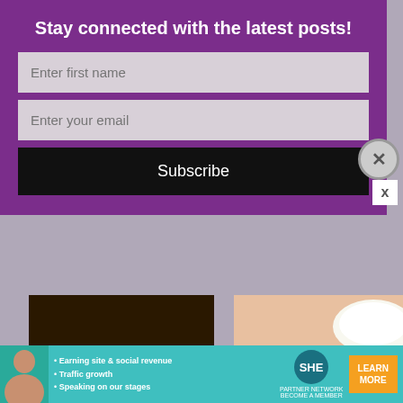Stay connected with the latest posts!
Enter first name
Enter your email
Subscribe
[Figure (photo): Photo of banana split cookies with white frosting and colorful sprinkles on a plate]
432. BANANA SPLIT COOKIES * cake mix, banana pudding * chocolate chip, pineapple...
[Figure (photo): Photo of zucchini corn fritters, thick pan-fried pancakes with sour cream on top, on a pink surface]
431. ZUCCHINI CORN FRITTERS * thick pan-fried PANCAKES * side dish * CHEESE...
[Figure (infographic): SHE Partner Network advertisement banner with woman, bullet points about earning site and social revenue, traffic growth, speaking on stages, and Learn More button]